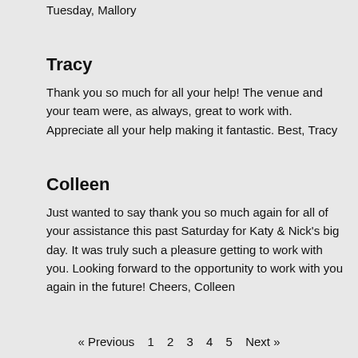Tuesday, Mallory
Tracy
Thank you so much for all your help! The venue and your team were, as always, great to work with. Appreciate all your help making it fantastic. Best, Tracy
Colleen
Just wanted to say thank you so much again for all of your assistance this past Saturday for Katy & Nick's big day. It was truly such a pleasure getting to work with you. Looking forward to the opportunity to work with you again in the future! Cheers, Colleen
« Previous  1  2  3  4  5  Next »